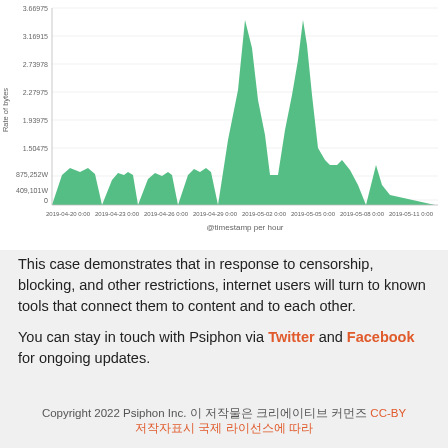[Figure (area-chart): Area chart showing internet traffic (rate of bytes per hour) over time from approximately 2019-04-20 to 2019-05-23. Low baseline with several bumps (~875,000-900,000 range), then a dramatic spike to ~3.65M around 2019-05-12, followed by another spike to ~2.75M around 2019-05-20, then declining. Fill color is green (#4cba7e).]
This case demonstrates that in response to censorship, blocking, and other restrictions, internet users will turn to known tools that connect them to content and to each other.
You can stay in touch with Psiphon via Twitter and Facebook for ongoing updates.
Copyright 2022 Psiphon Inc. 이 저작물은 크리에이티브 커먼즈 CC-BY 저작자표시 국제 라이선스에 따라